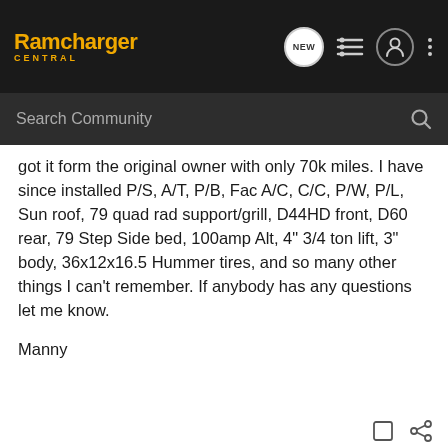Ramcharger Central
got it form the original owner with only 70k miles. I have since installed P/S, A/T, P/B, Fac A/C, C/C, P/W, P/L, Sun roof, 79 quad rad support/grill, D44HD front, D60 rear, 79 Step Side bed, 100amp Alt, 4" 3/4 ton lift, 3" body, 36x12x16.5 Hummer tires, and so many other things I can't remember. If anybody has any questions let me know.
Manny
73 W-100 Stepside converted to W-300. 5.9 Magnum NV4500/NP205. D60F, D70R.